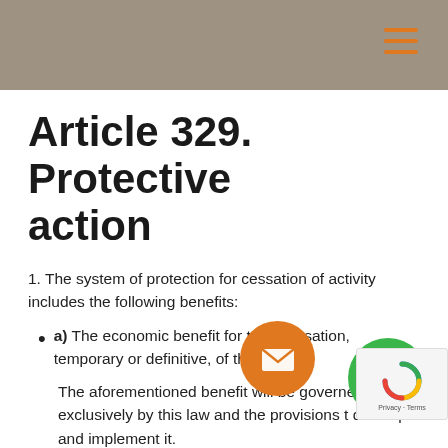Article 329. Protective action
1. The system of protection for cessation of activity includes the following benefits:
a) The economic benefit for total cessation, temporary or definitive, of the activity.
The aforementioned benefit will be governed exclusively by this law and the provisions that develop and implement it.
b) The cessation of the activity benefit...